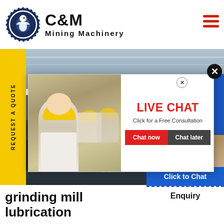[Figure (logo): C&M Mining Machinery logo with eagle in gear circle emblem, navy blue, with company name text]
[Figure (photo): Hero banner showing industrial mining machinery in a large factory/warehouse setting]
REQUEST A QUOTE
[Figure (photo): Live chat popup overlay with workers in yellow hard hats, LIVE CHAT heading in red, Click for a Free Consultation subtitle, Chat now and Chat later buttons]
Hours online
[Figure (photo): Customer service representative wearing headset smiling]
Click to Chat
Enquiry
grinding mill lubrication